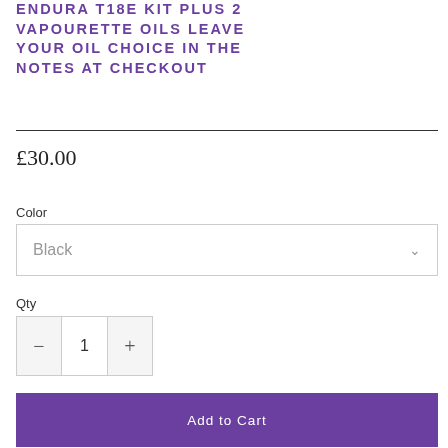ENDURA T18E KIT PLUS 2 VAPOURETTE OILS LEAVE YOUR OIL CHOICE IN THE NOTES AT CHECKOUT
£30.00
Color
Black
Qty
1
Add to Cart
COMPLETE ENDURA T18E